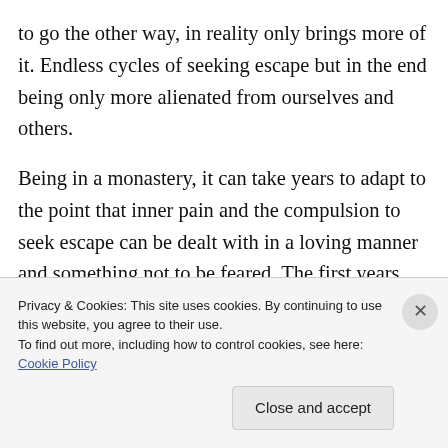to go the other way, in reality only brings more of it. Endless cycles of seeking escape but in the end being only more alienated from ourselves and others.
Being in a monastery, it can take years to adapt to the point that inner pain and the compulsion to seek escape can be dealt with in a loving manner and something not to be feared. The first years here were one of withdrawal and it took time for me to become more attuned to the joys
Privacy & Cookies: This site uses cookies. By continuing to use this website, you agree to their use.
To find out more, including how to control cookies, see here: Cookie Policy